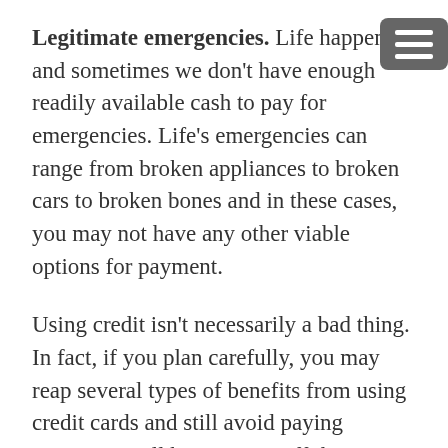Legitimate emergencies. Life happens and sometimes we don't have enough readily available cash to pay for emergencies. Life's emergencies can range from broken appliances to broken cars to broken bones and in these cases, you may not have any other viable options for payment.
Using credit isn't necessarily a bad thing. In fact, if you plan carefully, you may reap several types of benefits from using credit cards and still avoid paying interest. You'll have to pay off the balance right away to avoid finance charges, though. So, always think twice before you charge once.
Some credit cards offer consumer benefits, like extended warranties, extra insurance, or even rewards. There are some situations in which using a